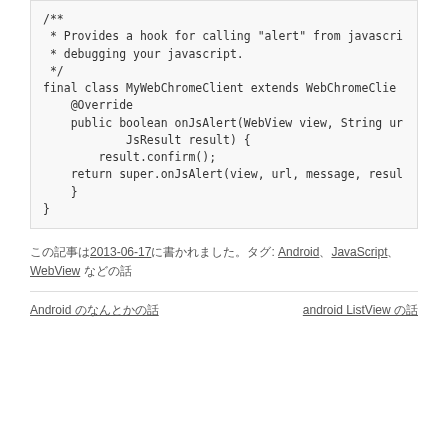/**
 * Provides a hook for calling "alert" from javascript.
 * debugging your javascript.
 */
final class MyWebChromeClient extends WebChromeClient {
    @Override
    public boolean onJsAlert(WebView view, String url,
            JsResult result) {
        result.confirm();
    return super.onJsAlert(view, url, message, result);
    }
}
この記事は2013-06-17に書かれました。タグ: Android、JavaScript、WebView などの話
Android のなんとかの話 / android ListView の話